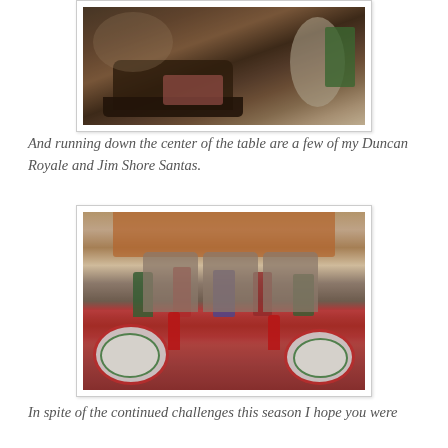[Figure (photo): Close-up photo of a Christmas table centerpiece featuring a dark wooden sleigh filled with ornaments and figurines, plates, red accents, a bottlebrush tree, and holiday decorations on a festive tablecloth.]
And running down the center of the table are a few of my Duncan Royale and Jim Shore Santas.
[Figure (photo): Wide-angle photo of a fully set Christmas dining table with red plaid tablecloth, Spode Christmas tree plates on red chargers, crystal red goblets, multiple Santa figurines and ornaments as centerpieces, and a tapestry hanging on the wall behind upholstered chairs.]
In spite of the continued challenges this season I hope you were